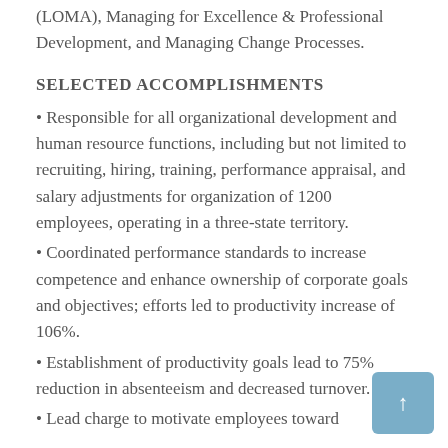(LOMA), Managing for Excellence & Professional Development, and Managing Change Processes.
SELECTED ACCOMPLISHMENTS
Responsible for all organizational development and human resource functions, including but not limited to recruiting, hiring, training, performance appraisal, and salary adjustments for organization of 1200 employees, operating in a three-state territory.
Coordinated performance standards to increase competence and enhance ownership of corporate goals and objectives; efforts led to productivity increase of 106%.
Establishment of productivity goals lead to 75% reduction in absenteeism and decreased turnover.
Lead charge to motivate employees toward